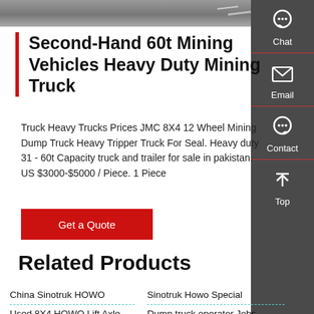[Figure (photo): Top strip showing a road/pavement surface, partial view of mining truck environment]
Second-Hand 60t Mining Vehicles Heavy Duty Mining Truck
Truck Heavy Trucks Prices JMC 8X4 12 Wheel Mining Dump Truck Heavy Tripper Truck For Seal. Heavy duty 31 - 60t Capacity truck and trailer for sale in pakistan. US $3000-$5000 / Piece. 1 Piece
Get a Quote
Related Products
China Sinotruk HOWO
Sinotruk Howo Special
Used 8X4 HOWO Lift Axle
Dump truck operator Jobs